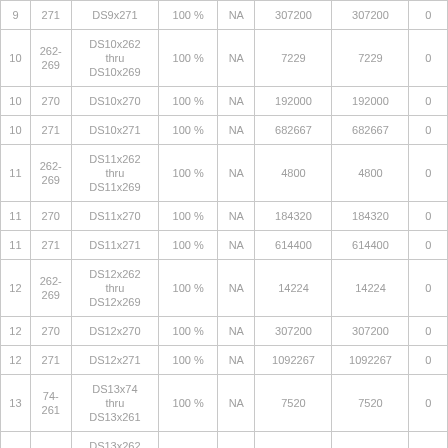| 9 | 271 | DS9x271 | 100 % | NA | 307200 | 307200 | 0 |
| 10 | 262-269 | DS10x262 thru DS10x269 | 100 % | NA | 7229 | 7229 | 0 |
| 10 | 270 | DS10x270 | 100 % | NA | 192000 | 192000 | 0 |
| 10 | 271 | DS10x271 | 100 % | NA | 682667 | 682667 | 0 |
| 11 | 262-269 | DS11x262 thru DS11x269 | 100 % | NA | 4800 | 4800 | 0 |
| 11 | 270 | DS11x270 | 100 % | NA | 184320 | 184320 | 0 |
| 11 | 271 | DS11x271 | 100 % | NA | 614400 | 614400 | 0 |
| 12 | 262-269 | DS12x262 thru DS12x269 | 100 % | NA | 14224 | 14224 | 0 |
| 12 | 270 | DS12x270 | 100 % | NA | 307200 | 307200 | 0 |
| 12 | 271 | DS12x271 | 100 % | NA | 1092267 | 1092267 | 0 |
| 13 | 74-261 | DS13x74 thru DS13x261 | 100 % | NA | 7520 | 7520 | 0 |
| 13 | 262-269 | DS13x262 thru DS13x269 | 100 % | NA | 211200 | 211200 | 0 |
| 13 | 270 | DS13x270 | 100 % | NA | 1536000 | 1536000 | 0 |
| 13 | 271 | DS13x271 | 100 % | NA | 2750000 | 2750000 | 0 |